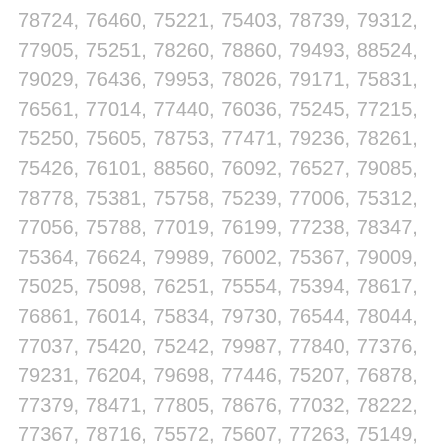78724, 76460, 75221, 75403, 78739, 79312, 77905, 75251, 78260, 78860, 79493, 88524, 79029, 76436, 79953, 78026, 79171, 75831, 76561, 77014, 77440, 76036, 75245, 77215, 75250, 75605, 78753, 77471, 79236, 78261, 75426, 76101, 88560, 76092, 76527, 79085, 78778, 75381, 75758, 75239, 77006, 75312, 77056, 75788, 77019, 76199, 77238, 78347, 75364, 76624, 79989, 76002, 75367, 79009, 75025, 75098, 76251, 75554, 75394, 78617, 76861, 76014, 75834, 79730, 76544, 78044, 77037, 75420, 75242, 79987, 77840, 77376, 79231, 76204, 79698, 77446, 75207, 76878, 77379, 78471, 77805, 78676, 77032, 78222, 77367, 78716, 75572, 75607, 77263, 75149, 79960, 79464, 78620, 77303, 79915, 79992, 78279, 79182, 75455, 88565, 75963, 78135, 79057, 77342, 76549, 75017, 79704, 79838, 75773, 78147, 76873, 76110, 75261, 75704, 79915, 76511, 77021, 79406, 78224, 79062, 75497, 88518, 79174, 76010, 75884, 78671, 77044, 77670, 78426, 75028, 78747, 77950, 76134, 77971, 76268, 79505, 76130, 75750, 75437, 79561, 78768, 77093, 79708, 78832,